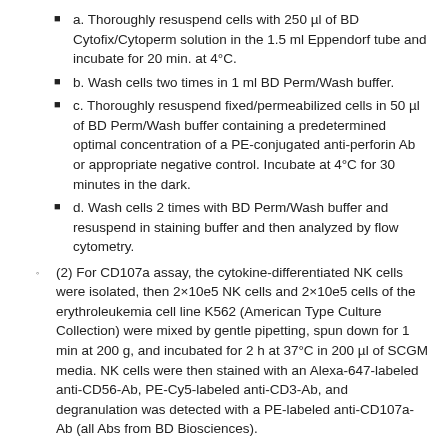a. Thoroughly resuspend cells with 250 µl of BD Cytofix/Cytoperm solution in the 1.5 ml Eppendorf tube and incubate for 20 min. at 4°C.
b. Wash cells two times in 1 ml BD Perm/Wash buffer.
c. Thoroughly resuspend fixed/permeabilized cells in 50 µl of BD Perm/Wash buffer containing a predetermined optimal concentration of a PE-conjugated anti-perforin Ab or appropriate negative control. Incubate at 4°C for 30 minutes in the dark.
d. Wash cells 2 times with BD Perm/Wash buffer and resuspend in staining buffer and then analyzed by flow cytometry.
(2) For CD107a assay, the cytokine-differentiated NK cells were isolated, then 2×10e5 NK cells and 2×10e5 cells of the erythroleukemia cell line K562 (American Type Culture Collection) were mixed by gentle pipetting, spun down for 1 min at 200 g, and incubated for 2 h at 37°C in 200 µl of SCGM media. NK cells were then stained with an Alexa-647-labeled anti-CD56-Ab, PE-Cy5-labeled anti-CD3-Ab, and degranulation was detected with a PE-labeled anti-CD107a-Ab (all Abs from BD Biosciences).
Anticipated Results